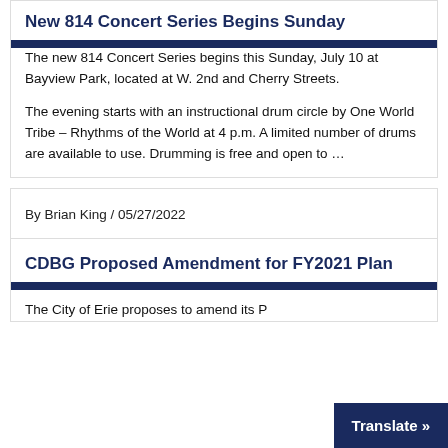New 814 Concert Series Begins Sunday
The new 814 Concert Series begins this Sunday, July 10 at Bayview Park, located at W. 2nd and Cherry Streets.
The evening starts with an instructional drum circle by One World Tribe – Rhythms of the World at 4 p.m. A limited number of drums are available to use. Drumming is free and open to ...
By Brian King / 05/27/2022
CDBG Proposed Amendment for FY2021 Plan
The City of Erie proposes to amend its P